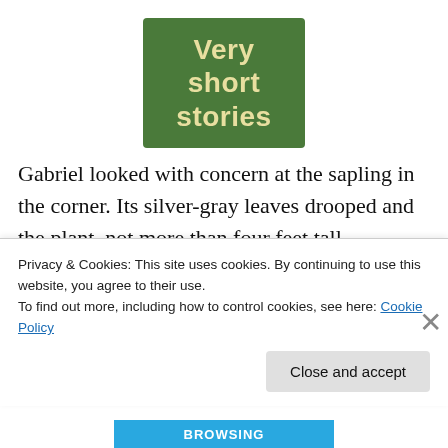[Figure (logo): Green rounded rectangle logo with cream/yellow text reading 'Very short stories']
Gabriel looked with concern at the sapling in the corner. Its silver-gray leaves drooped and the plant, not more than four feet tall, projected an overall air of forlornness. Behind the ornate pot holding the plant the transparent panes of a wide bay window showed a murky red sky and rolling
Privacy & Cookies: This site uses cookies. By continuing to use this website, you agree to their use.
To find out more, including how to control cookies, see here: Cookie Policy
Close and accept